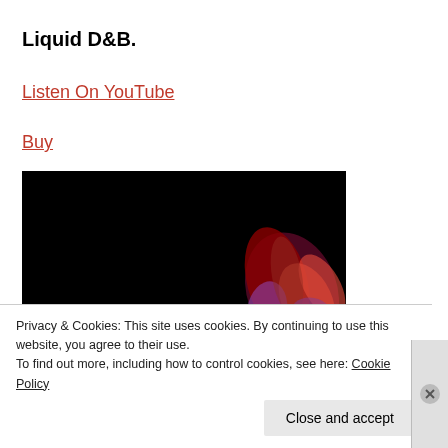Liquid D&B.
Listen On YouTube
Buy
[Figure (photo): Dark background image with abstract red and purple flame-like shapes in the lower right corner, likely a music/album artwork thumbnail.]
Privacy & Cookies: This site uses cookies. By continuing to use this website, you agree to their use.
To find out more, including how to control cookies, see here: Cookie Policy
Close and accept